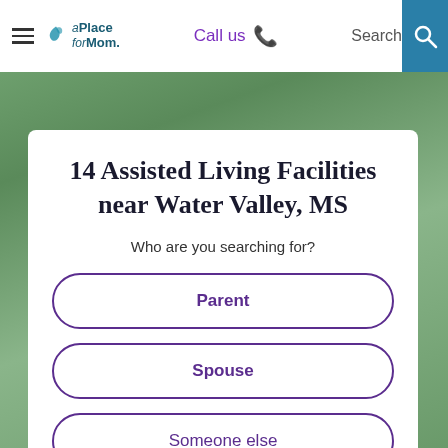Call us  Search
14 Assisted Living Facilities near Water Valley, MS
Who are you searching for?
Parent
Spouse
Someone else
Myself